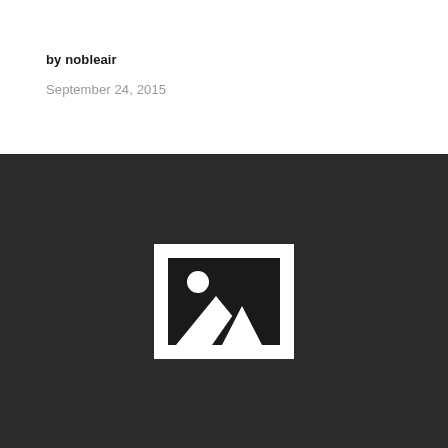by nobleair
September 24, 2015
[Figure (photo): Placeholder image icon (white frame with dark background and mountain/landscape image placeholder symbol) on a dark charcoal background.]